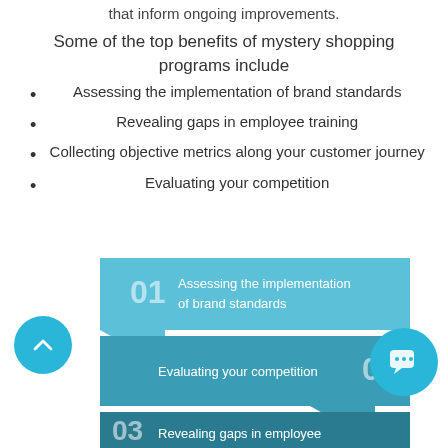that inform ongoing improvements.
Some of the top benefits of mystery shopping programs include
Assessing the implementation of brand standards
Revealing gaps in employee training
Collecting objective metrics along your customer journey
Evaluating your competition
[Figure (infographic): Three stacked banner/arrow infographic steps: 01 Assessing the implementation of brand standards (light blue), 02 Evaluating your competition (medium teal), 03 Revealing gaps in employee (dark teal). Each step has a downward pointing arrow tab below it.]